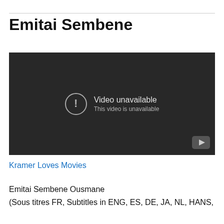Emitai Sembene
[Figure (screenshot): Embedded video player showing 'Video unavailable' message with circle exclamation icon and YouTube logo in bottom right corner. Background is dark grey/black.]
Kramer Loves Movies
Emitai Sembene Ousmane
(Sous titres FR, Subtitles in ENG, ES, DE, JA, NL, HANS,